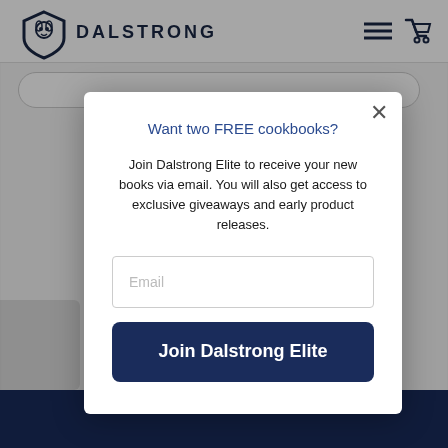[Figure (screenshot): Dalstrong website navigation bar with lion shield logo and DALSTRONG brand name, hamburger menu and cart icons on the right]
[Figure (screenshot): Search bar below navigation]
Want two FREE cookbooks?
Join Dalstrong Elite to receive your new books via email. You will also get access to exclusive giveaways and early product releases.
Email
Join Dalstrong Elite